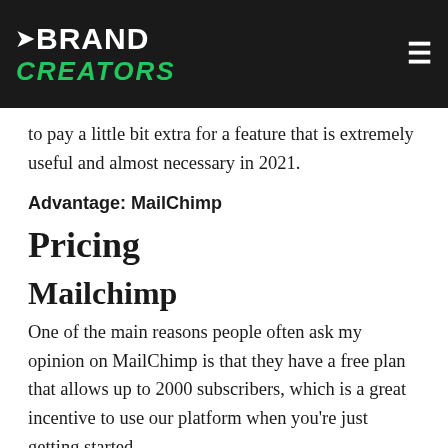BRAND CREATORS
to pay a little bit extra for a feature that is extremely useful and almost necessary in 2021.
Advantage: MailChimp
Pricing
Mailchimp
One of the main reasons people often ask my opinion on MailChimp is that they have a free plan that allows up to 2000 subscribers, which is a great incentive to use our platform when you're just getting started.